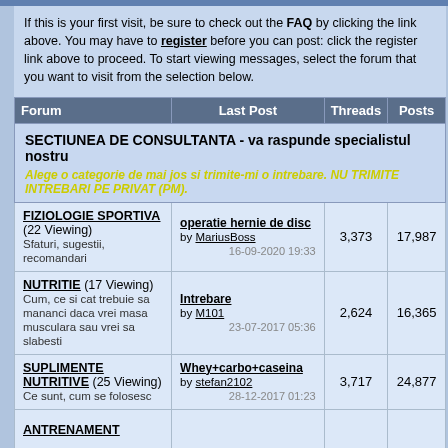If this is your first visit, be sure to check out the FAQ by clicking the link above. You may have to register before you can post: click the register link above to proceed. To start viewing messages, select the forum that you want to visit from the selection below.
| Forum | Last Post | Threads | Posts |
| --- | --- | --- | --- |
| SECTIUNEA DE CONSULTANTA - va raspunde specialistul nostru
Alege o categorie de mai jos si trimite-mi o intrebare. NU TRIMITE INTREBARI PE PRIVAT (PM). |  |  |  |
| FIZIOLOGIE SPORTIVA (22 Viewing)
Sfaturi, sugestii, recomandari | operatie hernie de disc
by MariusBoss
16-09-2020 19:33 | 3,373 | 17,987 |
| NUTRITIE (17 Viewing)
Cum, ce si cat trebuie sa mananci daca vrei masa musculara sau vrei sa slabesti | Intrebare
by M101
23-07-2017 05:36 | 2,624 | 16,365 |
| SUPLIMENTE NUTRITIVE (25 Viewing)
Ce sunt, cum se folosesc | Whey+carbo+caseina
by stefan2102
28-12-2017 01:23 | 3,717 | 24,877 |
| ANTRENAMENT |  |  |  |